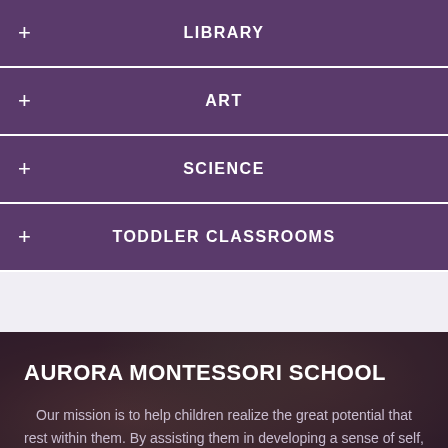+ LIBRARY
+ ART
+ SCIENCE
+ TODDLER CLASSROOMS
AURORA MONTESSORI SCHOOL
Our mission is to help children realize the great potential that rest within them. By assisting them in developing a sense of self, and inspiring them to act on their ambitions.